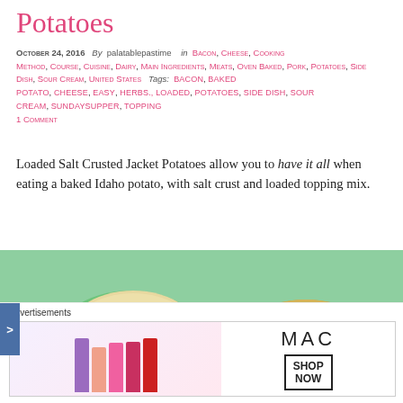Potatoes
October 24, 2016  By  palatablepastime    in  Bacon,  Cheese,  Cooking Method,  Course,  Cuisine,  Dairy,  Main Ingredients,  Meats,  Oven Baked,  Pork,  Potatoes,  Side Dish,  Sour Cream,  United States   Tags:  bacon,  baked potato,  cheese,  easy,  herbs.,  loaded,  potatoes,  side dish,  sour cream,  sundaysupper,  topping
1 Comment
Loaded Salt Crusted Jacket Potatoes allow you to have it all when eating a baked Idaho potato, with salt crust and loaded topping mix.
[Figure (photo): Photo of loaded salt crusted jacket potatoes on a green plate with a bowl of topping mix and a spoon, garnished with parsley]
Advertisements
[Figure (photo): MAC cosmetics advertisement showing lipsticks and the MAC logo with a SHOP NOW button]